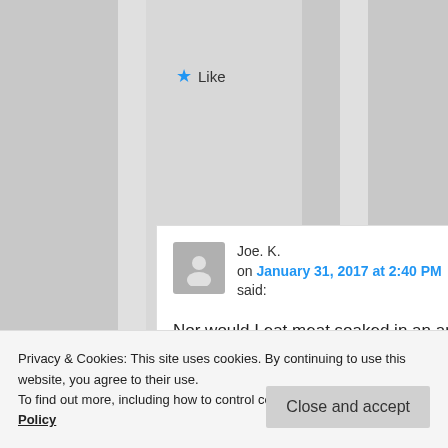Like
Joe. K.
on January 31, 2017 at 2:40 PM
said:
Nor would I eat meat soaked in an antibacterial
Privacy & Cookies: This site uses cookies. By continuing to use this website, you agree to their use.
To find out more, including how to control cookies, see here: Cookie Policy
Close and accept
assumes can diffuse